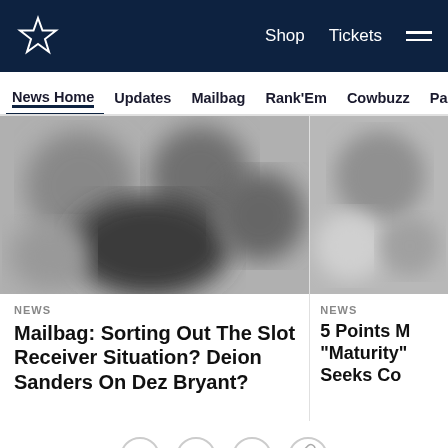Dallas Cowboys — Shop | Tickets | Menu
News Home | Updates | Mailbag | Rank'Em | Cowbuzz | Past/Pres
[Figure (photo): Blurred grayscale photo of football players, left card]
NEWS
Mailbag: Sorting Out The Slot Receiver Situation? Deion Sanders On Dez Bryant?
[Figure (photo): Blurred grayscale photo, right card]
NEWS
5 Points M... "Maturity" Seeks Co...
[Figure (infographic): Social share icons: Facebook, Twitter, Email, Link]